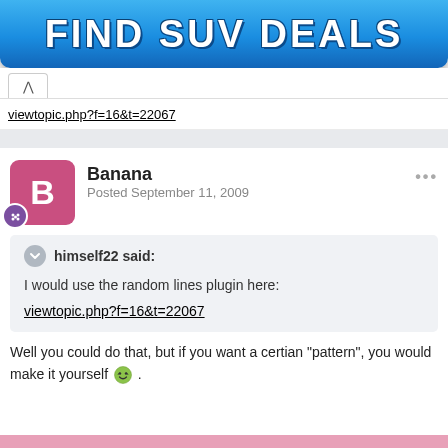[Figure (other): Blue button/ad banner reading FIND SUV DEALS]
viewtopic.php?f=16&t=22067
Banana
Posted September 11, 2009
himself22 said:
I would use the random lines plugin here:
viewtopic.php?f=16&t=22067
Well you could do that, but if you want a certian "pattern", you would make it yourself 😄 .